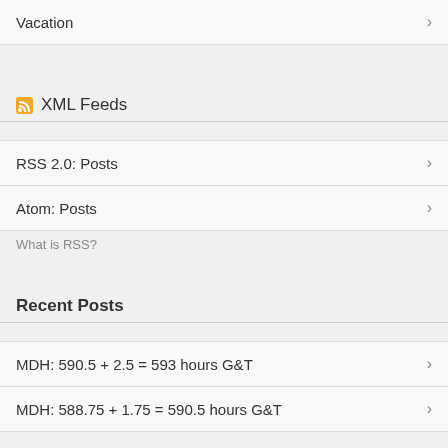Vacation
XML Feeds
RSS 2.0: Posts
Atom: Posts
What is RSS?
Recent Posts
MDH: 590.5 + 2.5 = 593 hours G&T
MDH: 588.75 + 1.75 = 590.5 hours G&T